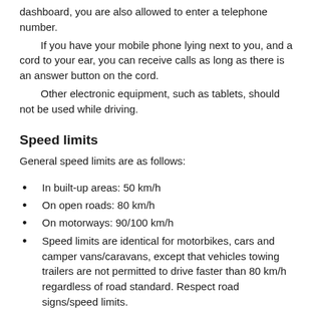dashboard, you are also allowed to enter a telephone number.
If you have your mobile phone lying next to you, and a cord to your ear, you can receive calls as long as there is an answer button on the cord.
Other electronic equipment, such as tablets, should not be used while driving.
Speed limits
General speed limits are as follows:
In built-up areas: 50 km/h
On open roads: 80 km/h
On motorways: 90/100 km/h
Speed limits are identical for motorbikes, cars and camper vans/caravans, except that vehicles towing trailers are not permitted to drive faster than 80 km/h regardless of road standard. Respect road signs/speed limits.